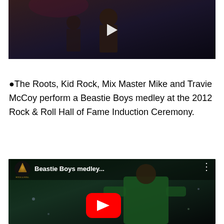[Figure (screenshot): Video thumbnail showing a performer on stage with a play button overlay, dark background with stage lighting]
The Roots, Kid Rock, Mix Master Mike and Travie McCoy perform a Beastie Boys medley at the 2012 Rock & Roll Hall of Fame Induction Ceremony.
[Figure (screenshot): YouTube video thumbnail for 'Beastie Boys medley...' with Rock & Roll Hall of Fame logo, red YouTube play button, performer in green jacket]